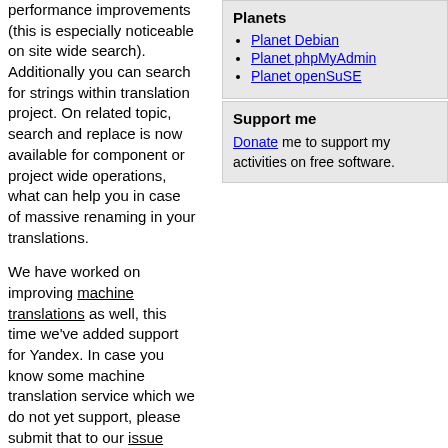performance improvements (this is especially noticeable on site wide search). Additionally you can search for strings within translation project. On related topic, search and replace is now available for component or project wide operations, what can help you in case of massive renaming in your translations.
We have worked on improving machine translations as well, this time we've added support for Yandex. In case you know some machine translation service which we do not yet support, please submit that to our issue tracker.
Planets
Planet Debian
Planet phpMyAdmin
Planet openSuSE
Support me
Donate me to support my activities on free software.